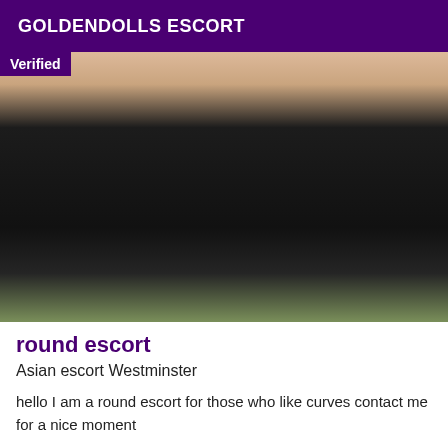GOLDENDOLLS ESCORT
[Figure (photo): Close-up photo of a plus-size person wearing a black top, outdoors with green foliage in background. A 'Verified' badge is overlaid in the top-left corner.]
round escort
Asian escort Westminster
hello I am a round escort for those who like curves contact me for a nice moment